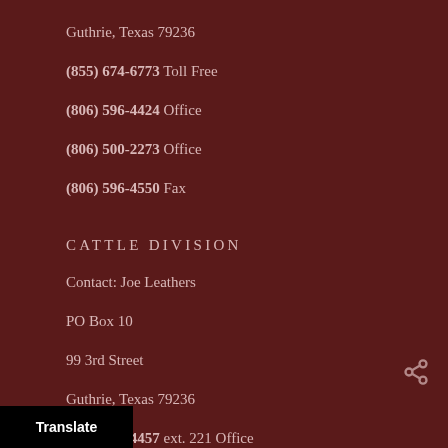Guthrie, Texas 79236
(855) 674-6773 Toll Free
(806) 596-4424 Office
(806) 500-2273 Office
(806) 596-4550 Fax
CATTLE DIVISION
Contact: Joe Leathers
PO Box 10
99 3rd Street
Guthrie, Texas 79236
(806) 596-4457 ext. 221 Office
-4314 Fax